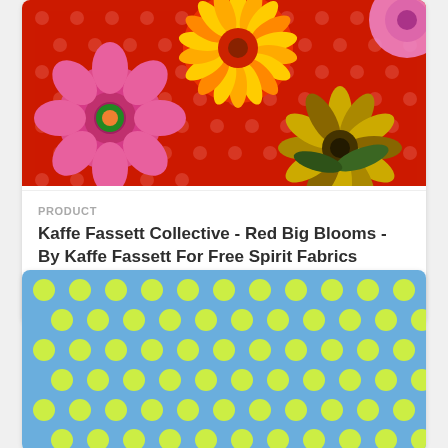[Figure (photo): Close-up photo of red fabric with large floral blooms (pink roses, yellow and dark chrysanthemums) on a red background with white polka dots]
PRODUCT
Kaffe Fassett Collective - Red Big Blooms - By Kaffe Fassett For Free Spirit Fabrics
$12.95
[Figure (photo): Close-up photo of blue fabric with evenly spaced yellow-green polka dots on a blue background]